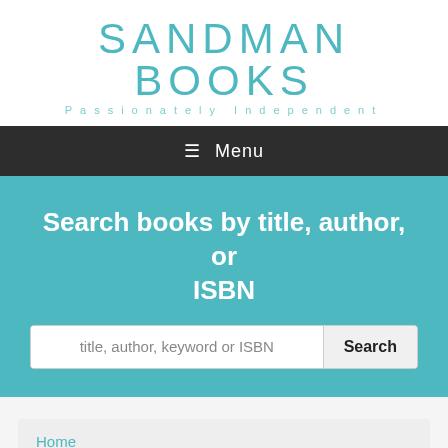SANDMAN BOOKS Passionately Independent
≡ Menu
Search books by title, author, or ISBN
title, author, keyword or ISBN
Home
>> Learn to Earn: A Beginner's Guide to the Basics of Investing and Business (Paperback)